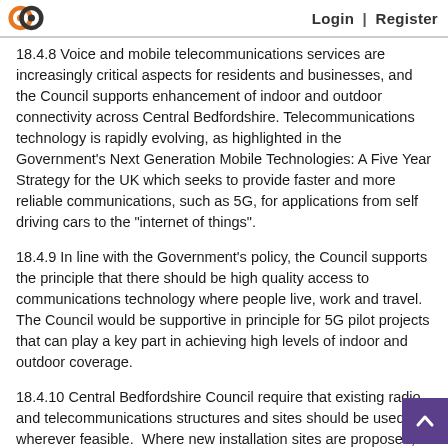Login | Register
18.4.8 Voice and mobile telecommunications services are increasingly critical aspects for residents and businesses, and the Council supports enhancement of indoor and outdoor connectivity across Central Bedfordshire. Telecommunications technology is rapidly evolving, as highlighted in the Government's Next Generation Mobile Technologies: A Five Year Strategy for the UK which seeks to provide faster and more reliable communications, such as 5G, for applications from self driving cars to the "internet of things".
18.4.9 In line with the Government's policy, the Council supports the principle that there should be high quality access to communications technology where people live, work and travel.  The Council would be supportive in principle for 5G pilot projects that can play a key part in achieving high levels of indoor and outdoor coverage.
18.4.10 Central Bedfordshire Council require that existing radio and telecommunications structures and sites should be used wherever feasible.  Where new installation sites are proposed, justification should be provided to demonstrate that there are no feasible opportunities for mast or site